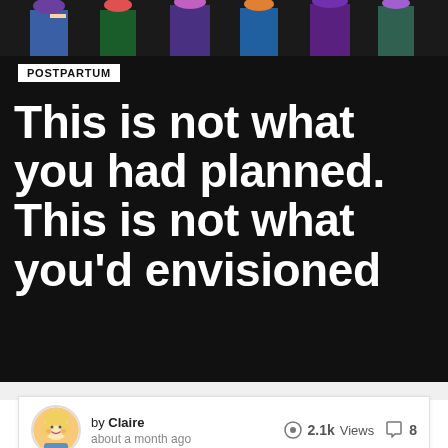[Figure (illustration): Top portion showing illustrated figures from waist down with colorful hair/accessories on dark background]
POSTPARTUM
This is not what you had planned. This is not what you'd envisioned
by Claire about a month ago   2.1k Views   8
[Figure (illustration): Illustrated artwork showing a child's face with brown hair surrounded by large pink and orange flowers on a teal background]